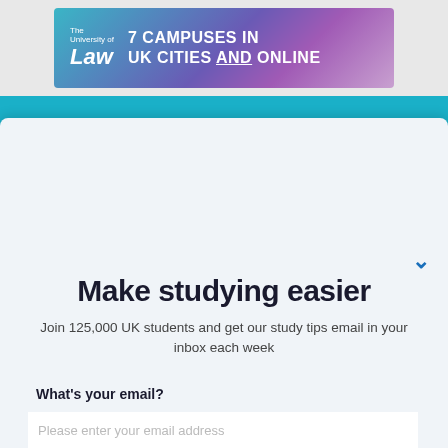[Figure (screenshot): University of Law advertisement banner: logo with 'The University of Law' text and '7 CAMPUSES IN UK CITIES AND ONLINE' text on gradient background]
[Figure (screenshot): Navigation bar with The Student Room logo and menu items in teal/blue]
Make studying easier
Join 125,000 UK students and get our study tips email in your inbox each week
What's your email?
Please enter your email address
Please also send me emails from TSR on behalf of unis, recruiters and brands
How old are you?
I'm 13 or older
I'm under 13